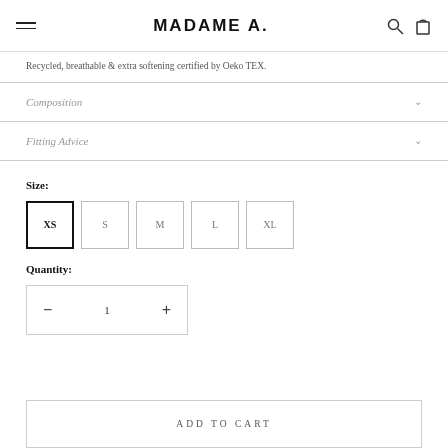MADAME A.
Recycled, breathable & extra softening certified by Oeko TEX.
Composition
Fitting Advice
Size:
XS  S  M  L  XL
Quantity:
− 1 +
ADD TO CART